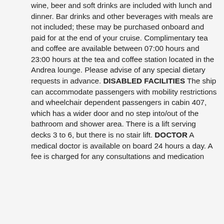wine, beer and soft drinks are included with lunch and dinner. Bar drinks and other beverages with meals are not included; these may be purchased onboard and paid for at the end of your cruise. Complimentary tea and coffee are available between 07:00 hours and 23:00 hours at the tea and coffee station located in the Andrea lounge. Please advise of any special dietary requests in advance. DISABLED FACILITIES The ship can accommodate passengers with mobility restrictions and wheelchair dependent passengers in cabin 407, which has a wider door and no step into/out of the bathroom and shower area. There is a lift serving decks 3 to 6, but there is no stair lift. DOCTOR A medical doctor is available on board 24 hours a day. A fee is charged for any consultations and medication